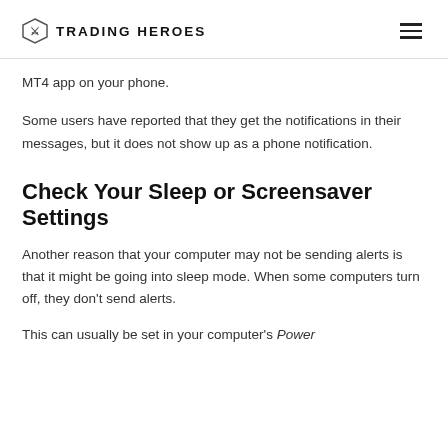TRADING HEROES
MT4 app on your phone.
Some users have reported that they get the notifications in their messages, but it does not show up as a phone notification.
Check Your Sleep or Screensaver Settings
Another reason that your computer may not be sending alerts is that it might be going into sleep mode. When some computers turn off, they don't send alerts.
This can usually be set in your computer's Power